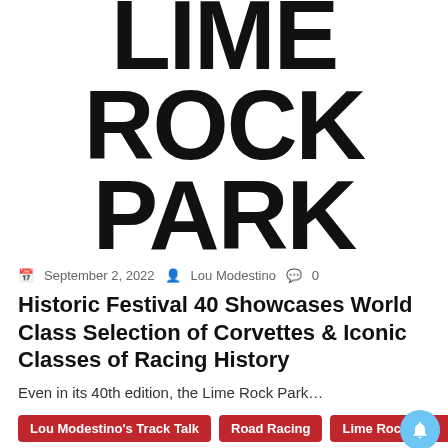[Figure (logo): Lime Rock Park logo in large bold black text, stacked: LIME / ROCK / PARK]
September 2, 2022  Lou Modestino  0
Historic Festival 40 Showcases World Class Selection of Corvettes & Iconic Classes of Racing History
Even in its 40th edition, the Lime Rock Park...
Lou Modestino's Track Talk | Road Racing | Lime Rock Park